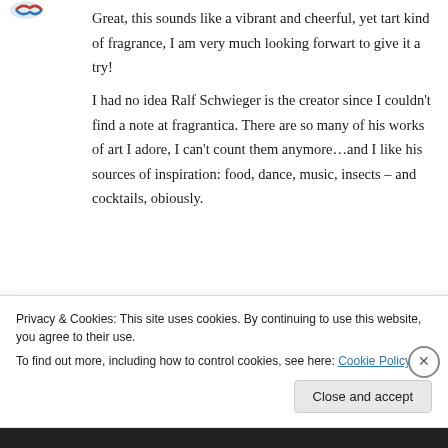[Figure (logo): Small blue and orange logo icon in top left]
Great, this sounds like a vibrant and cheerful, yet tart kind of fragrance, I am very much looking forwart to give it a try!
I had no idea Ralf Schwieger is the creator since I couldn't find a note at fragrantica. There are so many of his works of art I adore, I can't count them anymore…and I like his sources of inspiration: food, dance, music, insects – and cocktails, obiously.
Reply
Privacy & Cookies: This site uses cookies. By continuing to use this website, you agree to their use.
To find out more, including how to control cookies, see here: Cookie Policy